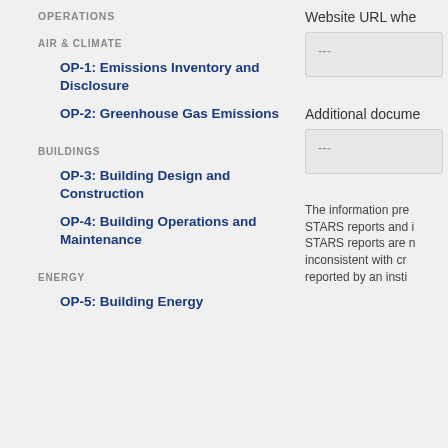OPERATIONS
AIR & CLIMATE
OP-1: Emissions Inventory and Disclosure
OP-2: Greenhouse Gas Emissions
BUILDINGS
OP-3: Building Design and Construction
OP-4: Building Operations and Maintenance
ENERGY
OP-5: Building Energy
Website URL whe
---
Additional docume
---
The information pre STARS reports and i STARS reports are n inconsistent with cr reported by an insti